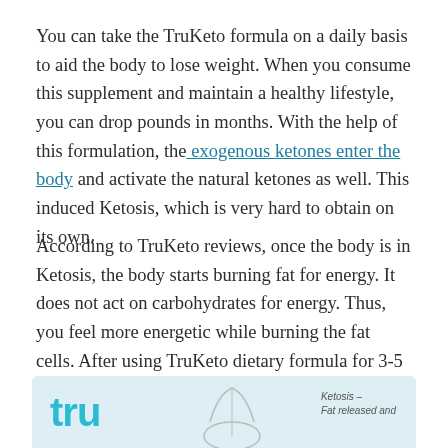You can take the TruKeto formula on a daily basis to aid the body to lose weight. When you consume this supplement and maintain a healthy lifestyle, you can drop pounds in months. With the help of this formulation, the exogenous ketones enter the body and activate the natural ketones as well. This induced Ketosis, which is very hard to obtain on its own.
According to TruKeto reviews, once the body is in Ketosis, the body starts burning fat for energy. It does not act on carbohydrates for energy. Thus, you feel more energetic while burning the fat cells. After using TruKeto dietary formula for 3-5 months, you will start noticing changes like weight loss of 20 ls or more. TruKeto capsule also helps you to maintain your new weight and shape.
[Figure (other): TruKeto product image strip showing 'tru' logo in teal, a circular diagram, and text reading 'Ketosis – Fat released and' on a light blue background]